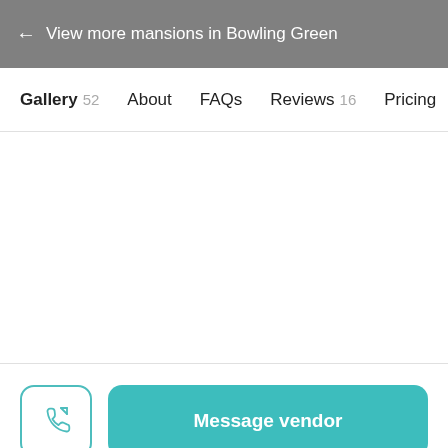← View more mansions in Bowling Green
Gallery 52  About  FAQs  Reviews 16  Pricing
Message vendor